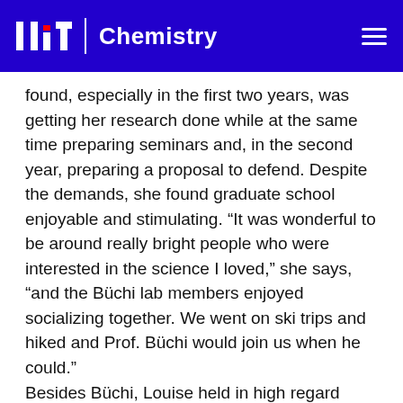MIT | Chemistry
found, especially in the first two years, was getting her research done while at the same time preparing seminars and, in the second year, preparing a proposal to defend. Despite the demands, she found graduate school enjoyable and stimulating. “It was wonderful to be around really bright people who were interested in the science I loved,” she says, “and the Büchi lab members enjoyed socializing together. We went on ski trips and hiked and Prof. Büchi would join us when he could.” Besides Büchi, Louise held in high regard Profs. Arthur Cope, Herbert House, and George Whitesides, all of whom were in the department at the time. Although she never took a course with Cope, she had read his papers.